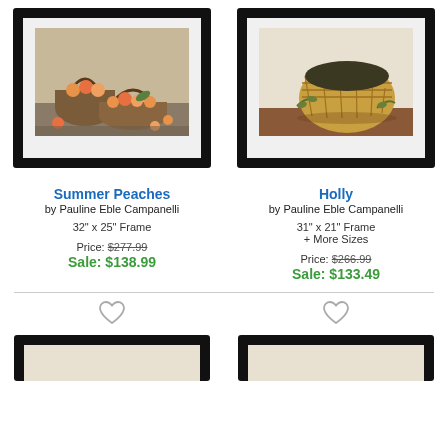[Figure (photo): Framed art print of Summer Peaches by Pauline Eble Campanelli showing two wicker baskets filled with peaches on a table, black frame with white mat]
[Figure (photo): Framed art print of Holly by Pauline Eble Campanelli showing a woven basket filled with dark berries/olives with green sprigs, black frame with white mat]
Summer Peaches
by Pauline Eble Campanelli
32" x 25" Frame
Price: $277.99
Sale: $138.99
Holly
by Pauline Eble Campanelli
31" x 21" Frame
+ More Sizes
Price: $266.99
Sale: $133.49